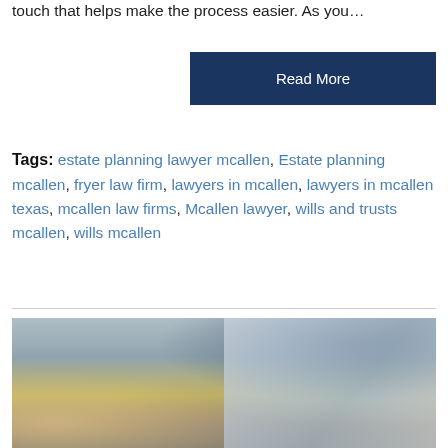touch that helps make the process easier. As you…
Read More
Tags: estate planning lawyer mcallen, Estate planning mcallen, fryer law firm, lawyers in mcallen, lawyers in mcallen texas, mcallen law firms, Mcallen lawyer, wills and trusts mcallen, wills mcallen
[Figure (photo): Person working at a desk with a laptop open, blurred background with a monitor and office decor visible. The hands of the person are visible on the laptop keyboard.]